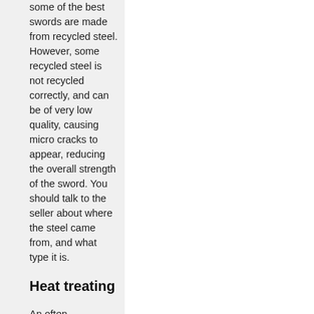some of the best swords are made from recycled steel. However, some recycled steel is not recycled correctly, and can be of very low quality, causing micro cracks to appear, reducing the overall strength of the sword. You should talk to the seller about where the steel came from, and what type it is.
Heat treating
An often overlooked attribute when looking for the sword, how the sword was made is very important. Heat treating is designed to create a balance between the toughness and hardness. Toughness defines the sword's impact resistance and shock handling